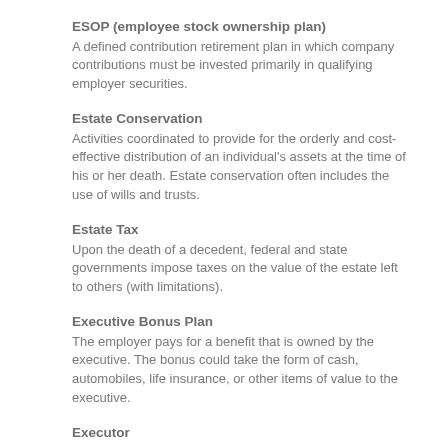ESOP (employee stock ownership plan)
A defined contribution retirement plan in which company contributions must be invested primarily in qualifying employer securities.
Estate Conservation
Activities coordinated to provide for the orderly and cost-effective distribution of an individual's assets at the time of his or her death. Estate conservation often includes the use of wills and trusts.
Estate Tax
Upon the death of a decedent, federal and state governments impose taxes on the value of the estate left to others (with limitations).
Executive Bonus Plan
The employer pays for a benefit that is owned by the executive. The bonus could take the form of cash, automobiles, life insurance, or other items of value to the executive.
Executor
A person named by the probate courts or the will to carry out the directions and requests of the decedent.